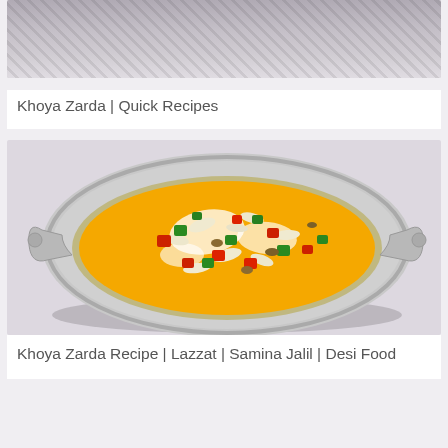[Figure (photo): Top portion of a decorative silver dish with zebra-striped pattern, partially cropped at top edge of page]
Khoya Zarda | Quick Recipes
[Figure (photo): A decorative silver serving dish containing Khoya Zarda — saffron-yellow sweet rice topped with red and green candied fruit pieces and sliced almonds, on a light background]
Khoya Zarda Recipe | Lazzat | Samina Jalil | Desi Food